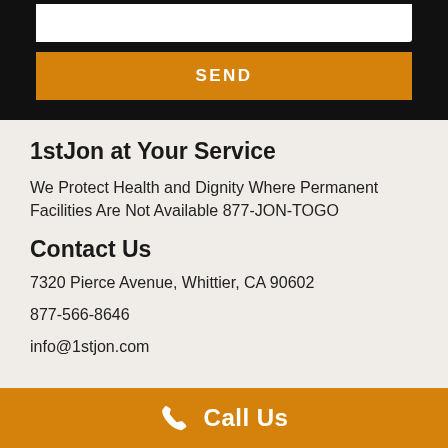[Figure (screenshot): Dark background section with a white textarea input and an orange SEND button]
1stJon at Your Service
We Protect Health and Dignity Where Permanent Facilities Are Not Available 877-JON-TOGO
Contact Us
7320 Pierce Avenue, Whittier, CA 90602
877-566-8646
info@1stjon.com
[Figure (other): Orange footer bar with white phone icon and Call Us text]